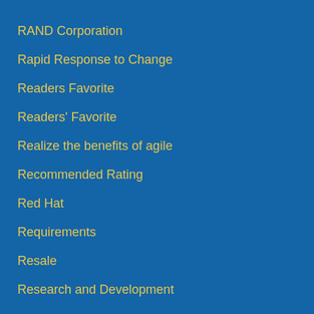RAND Corporation
Rapid Response to Change
Readers Favorite
Readers' Favorite
Realize the benefits of agile
Recommended Rating
Red Hat
Requirements
Resale
Research and Development